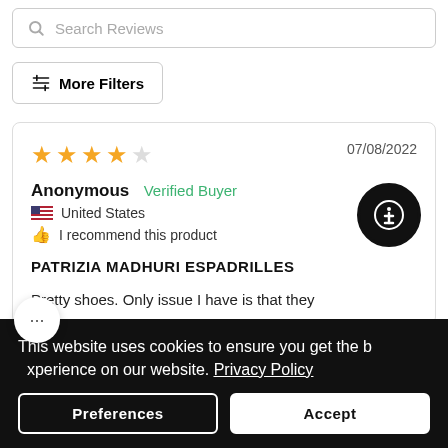Search Reviews
More Filters
Anonymous  Verified Buyer
United States
I recommend this product
PATRIZIA MADHURI ESPADRILLES
07/08/2022
Pretty shoes. Only issue I have is that they
This website uses cookies to ensure you get the best experience on our website. Privacy Policy
Preferences
Accept